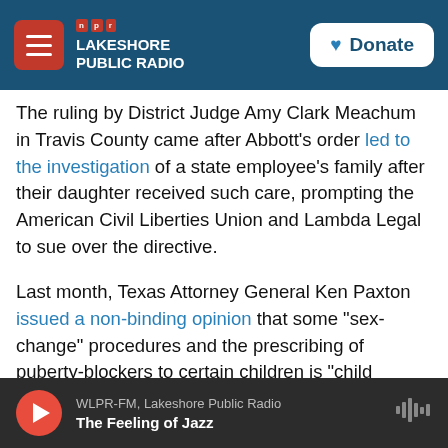NPR Lakeshore Public Radio | Donate
The ruling by District Judge Amy Clark Meachum in Travis County came after Abbott's order led to the investigation of a state employee's family after their daughter received such care, prompting the American Civil Liberties Union and Lambda Legal to sue over the directive.
Last month, Texas Attorney General Ken Paxton issued a non-binding opinion that some "sex-change" procedures and the prescribing of puberty-blockers to certain children is "child abuse" under Texas law.
Paxton's opinion followed an allegation of
WLPR-FM, Lakeshore Public Radio | The Feeling of Jazz